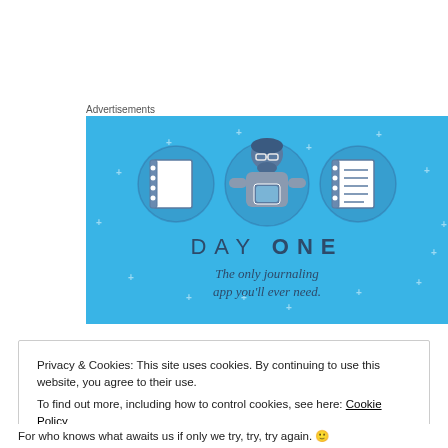Advertisements
[Figure (illustration): Day One journaling app advertisement on a blue background. Shows three circular icons (blank notebook, person using phone, lined notebook) and the text 'DAY ONE - The only journaling app you'll ever need.']
Privacy & Cookies: This site uses cookies. By continuing to use this website, you agree to their use.
To find out more, including how to control cookies, see here: Cookie Policy
Close and accept
For who knows what awaits us if only we try, try, try again. 🙂